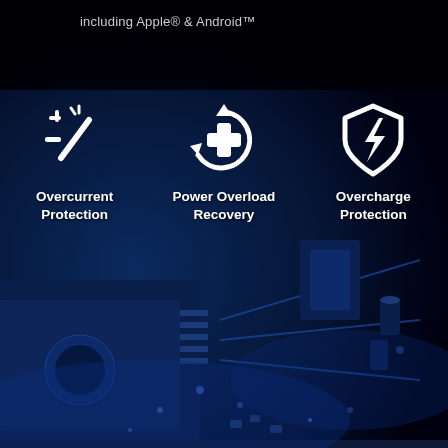[Figure (photo): Dark blue macro photograph of electronic circuit board components including microchips and capacitors with blue lighting]
including Apple® & Android™
[Figure (infographic): Three white icons on circuit board background: Overcurrent Protection (spark/slash icon), Power Overload Recovery (circular arrows with plus), Overcharge Protection (shield with lightning bolt)]
Overcurrent Protection
Power Overload Recovery
Overcharge Protection